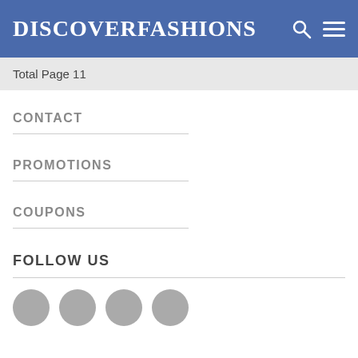DISCOVERFASHIONS
Total Page 11
CONTACT
PROMOTIONS
COUPONS
FOLLOW US
[Figure (other): Four grey social media icon circles at the bottom of the page]